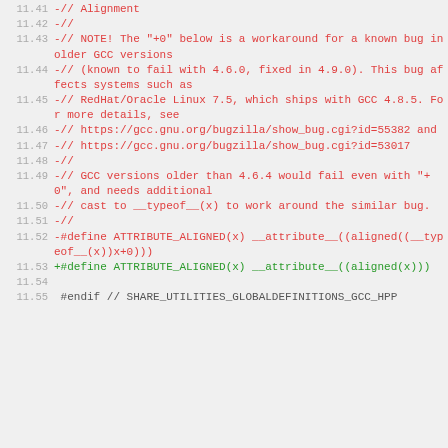Code diff showing lines 11.41-11.55 of a C/C++ header file, with removed lines (red, prefixed -) and added lines (green, prefixed +), related to ATTRIBUTE_ALIGNED macro and GCC alignment bug workaround.